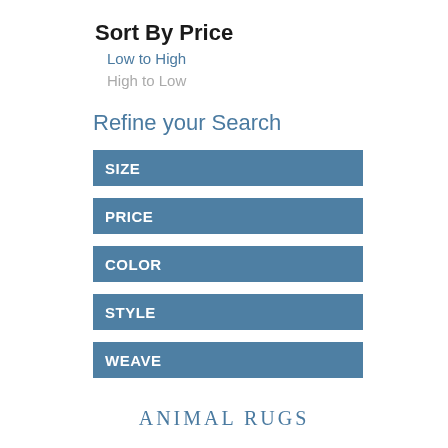Sort By Price
Low to High
High to Low
Refine your Search
SIZE
PRICE
COLOR
STYLE
WEAVE
ANIMAL RUGS